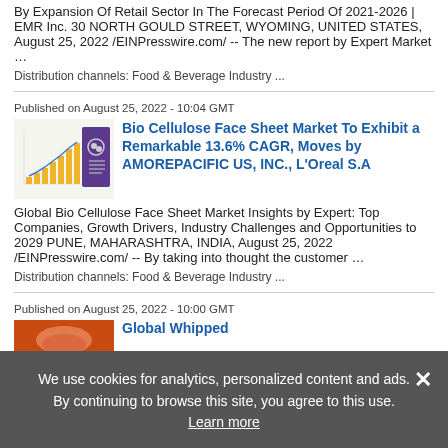By Expansion Of Retail Sector In The Forecast Period Of 2021-2026 | EMR Inc. 30 NORTH GOULD STREET, WYOMING, UNITED STATES, August 25, 2022 /EINPresswire.com/ -- The new report by Expert Market …
Distribution channels: Food & Beverage Industry ...
Published on August 25, 2022 - 10:04 GMT
[Figure (illustration): Thumbnail image showing a bar chart with upward trend and a purple book/report cover]
Bio Cellulose Face Sheet Market To Exhibit a Remarkable 13.6% CAGR, Moves by AMOREPACIFIC US, INC., L'Oreal S.A
Global Bio Cellulose Face Sheet Market Insights by Expert: Top Companies, Growth Drivers, Industry Challenges and Opportunities to 2029 PUNE, MAHARASHTRA, INDIA, August 25, 2022 /EINPresswire.com/ -- By taking into thought the customer …
Distribution channels: Food & Beverage Industry ...
Published on August 25, 2022 - 10:00 GMT
Global Whipped
We use cookies for analytics, personalized content and ads. By continuing to browse this site, you agree to this use. Learn more